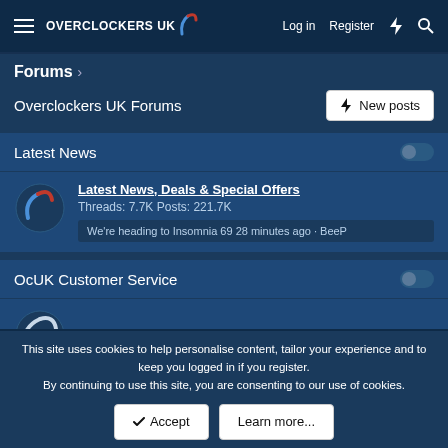Overclockers UK — Log in  Register
Forums >
Overclockers UK Forums
Latest News
Latest News, Deals & Special Offers
Threads: 7.7K Posts: 221.7K
We're heading to Insomnia 69 28 minutes ago · BeeP
OcUK Customer Service
OcUK Customer Service
This site uses cookies to help personalise content, tailor your experience and to keep you logged in if you register.
By continuing to use this site, you are consenting to our use of cookies.